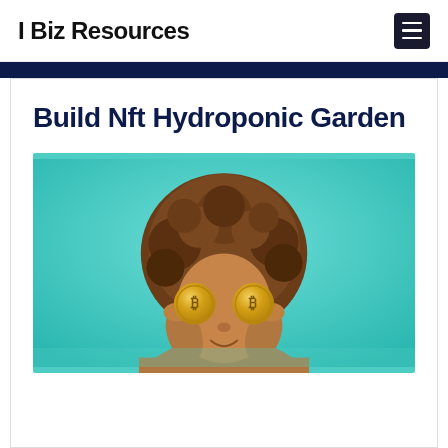I Biz Resources
Build Nft Hydroponic Garden
[Figure (photo): A woman with curly brown hair holding two gold Bitcoin coins in front of her eyes against a teal/turquoise background, smiling.]